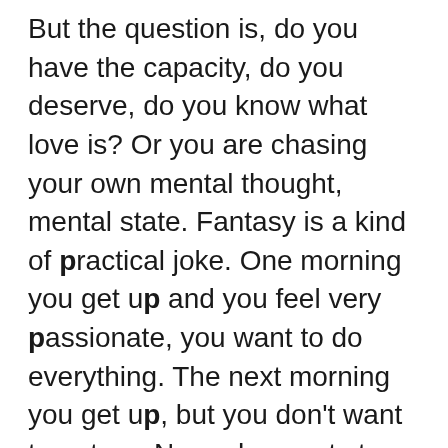But the question is, do you have the capacity, do you deserve, do you know what love is? Or you are chasing your own mental thought, mental state. Fantasy is a kind of practical joke. One morning you get up and you feel very passionate, you want to do everything. The next morning you get up, but you don't want to get up. Now who wants to be with you? Mr. Yoyo.

The problem we are going through right now is that each one wants the support without knowing what support means. The whole world may give you support, but if your